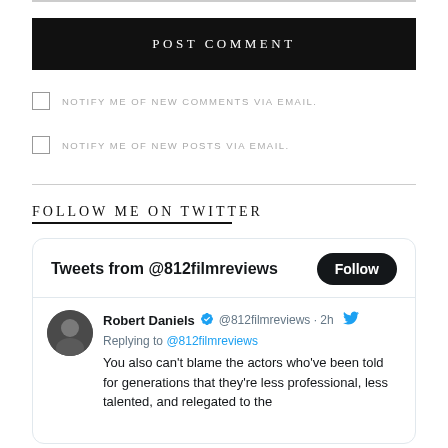[Figure (screenshot): POST COMMENT button - black rectangle with white text]
NOTIFY ME OF NEW COMMENTS VIA EMAIL.
NOTIFY ME OF NEW POSTS VIA EMAIL.
FOLLOW ME ON TWITTER
[Figure (screenshot): Twitter widget showing Tweets from @812filmreviews with a Follow button and a tweet from Robert Daniels @812filmreviews 2h, replying to @812filmreviews: You also can't blame the actors who've been told for generations that they're less professional, less talented, and relegated to the]